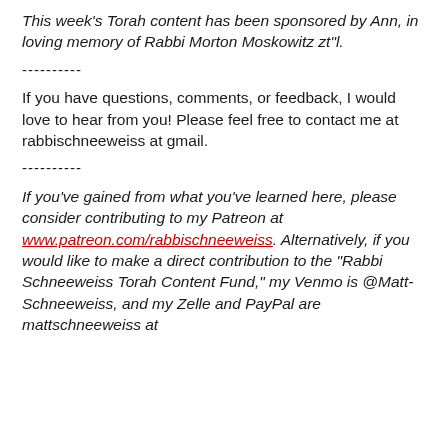This week's Torah content has been sponsored by Ann, in loving memory of Rabbi Morton Moskowitz zt"l.
----------
If you have questions, comments, or feedback, I would love to hear from you! Please feel free to contact me at rabbischneeweiss at gmail.
----------
If you've gained from what you've learned here, please consider contributing to my Patreon at www.patreon.com/rabbischneeweiss. Alternatively, if you would like to make a direct contribution to the "Rabbi Schneeweiss Torah Content Fund," my Venmo is @Matt-Schneeweiss, and my Zelle and PayPal are mattschneeweiss at